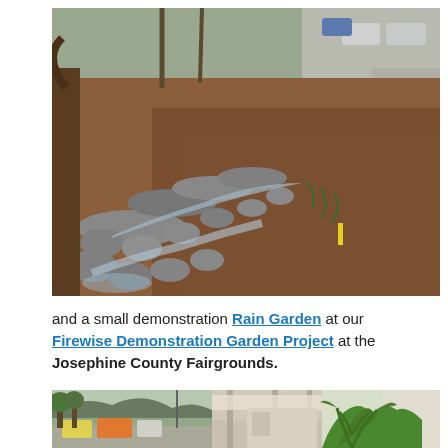[Figure (photo): Outdoor rain garden with rocky streambed, wet leaves and mulch on ground, trees and parked cars in background on an overcast day]
and a small demonstration Rain Garden at our Firewise Demonstration Garden Project at the Josephine County Fairgrounds.
[Figure (photo): Composite photo showing street scene with vehicles, trees, and green plants near a building]